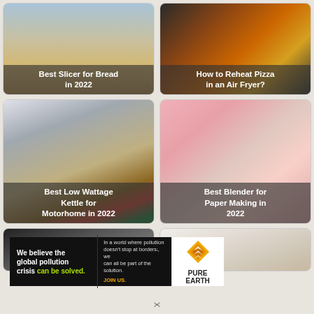[Figure (photo): Food blog grid layout with four image cards: bread slicer, pizza in air fryer, low wattage kettle, blender for paper making, and two partially visible cards at the bottom]
Best Slicer for Bread in 2022
How to Reheat Pizza in an Air Fryer?
Best Low Wattage Kettle for Motorhome in 2022
Best Blender for Paper Making in 2022
[Figure (photo): Advertisement banner for Pure Earth: 'We believe the global pollution crisis can be solved.' with logo]